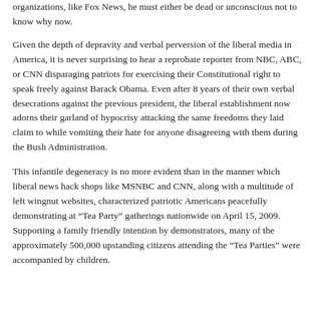organizations, like Fox News, he must either be dead or unconscious not to know why now.
Given the depth of depravity and verbal perversion of the liberal media in America, it is never surprising to hear a reprobate reporter from NBC, ABC, or CNN disparaging patriots for exercising their Constitutional right to speak freely against Barack Obama. Even after 8 years of their own verbal desecrations against the previous president, the liberal establishment now adorns their garland of hypocrisy attacking the same freedoms they laid claim to while vomiting their hate for anyone disagreeing with them during the Bush Administration.
This infantile degeneracy is no more evident than in the manner which liberal news hack shops like MSNBC and CNN, along with a multitude of left wingnut websites, characterized patriotic Americans peacefully demonstrating at "Tea Party" gatherings nationwide on April 15, 2009. Supporting a family friendly intention by demonstrators, many of the approximately 500,000 upstanding citizens attending the "Tea Parties" were accompanied by children.
…